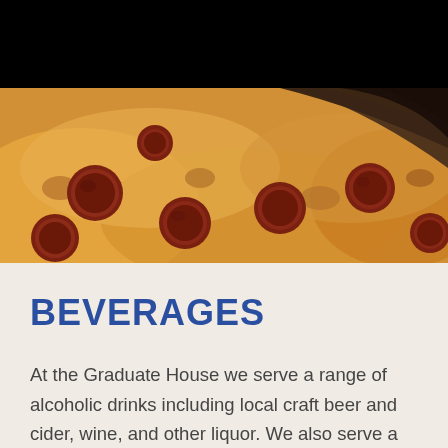[Figure (photo): Close-up photo of a pepperoni pizza with melted cheese and a dark pan edge visible, shown from above at an angle. Black bar at the top of the image.]
BEVERAGES
At the Graduate House we serve a range of alcoholic drinks including local craft beer and cider, wine, and other liquor. We also serve a range of non-alcoholic beverages including coffee, tea, juices, soft drinks, and non-alcoholic beer.